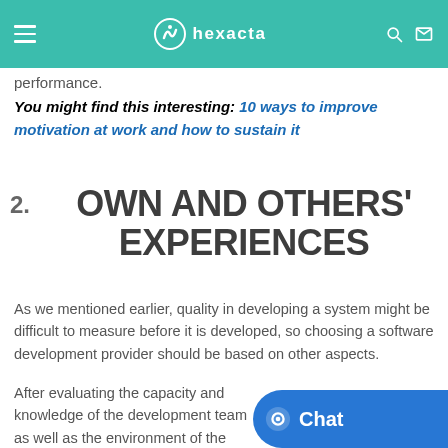Hexacta — navigation bar with logo and icons
infrastructure or workplace, human resources, policies, and in… other to… which stimulate and facilitate a better performance.
You might find this interesting: 10 ways to improve motivation at work and how to sustain it
2. OWN AND OTHERS' EXPERIENCES
As we mentioned earlier, quality in developing a system might be difficult to measure before it is developed, so choosing a software development provider should be based on other aspects.
After evaluating the capacity and knowledge of the development team as well as the environment of the company, it is important to…